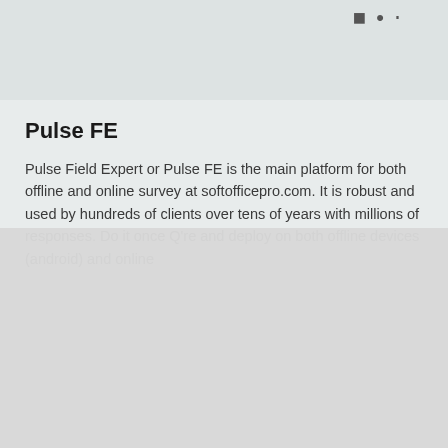[Figure (screenshot): Partial screenshot of a webpage showing an image area with small pixel/dot artifacts in the upper right corner, on a light gray background.]
Pulse FE
Pulse Field Expert or Pulse FE is the main platform for both offline and online survey at softofficepro.com. It is robust and used by hundreds of clients over tens of years with millions of responses. Do it once Q're and deploy on both offline devices (android) and online
GDPR & CCPA compliance
We use cookies on our website to give you the most relevant experience by remembering your preferences and repeat visits. By clicking “Accept”, you consent to the use of ALL the cookies.
Keep personal information safe.
Cookie Settings   Accept